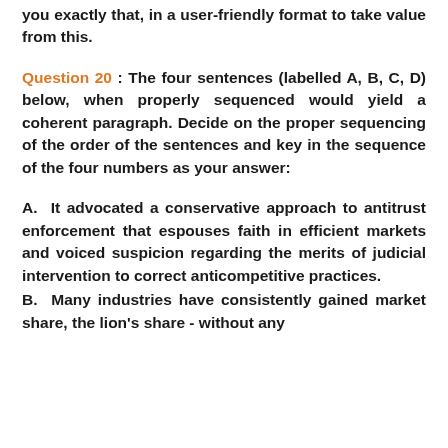you exactly that, in a user-friendly format to take value from this.
Question 20 : The four sentences (labelled A, B, C, D) below, when properly sequenced would yield a coherent paragraph. Decide on the proper sequencing of the order of the sentences and key in the sequence of the four numbers as your answer:
A.  It advocated a conservative approach to antitrust enforcement that espouses faith in efficient markets and voiced suspicion regarding the merits of judicial intervention to correct anticompetitive practices.
B.  Many industries have consistently gained market share, the lion's share - without any